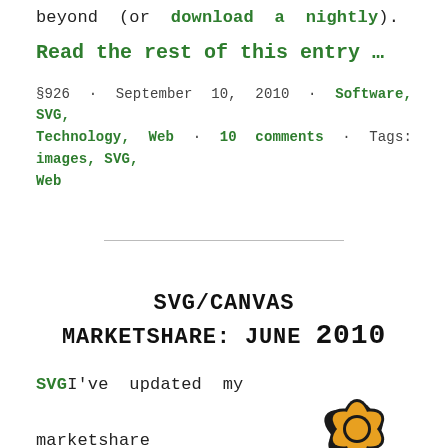beyond (or download a nightly).
Read the rest of this entry …
§926 · September 10, 2010 · Software, SVG, Technology, Web · 10 comments · Tags: images, SVG, Web
SVG/CANVAS MARKETSHARE: JUNE 2010
SVG I've updated my marketshare spreadsheet for June